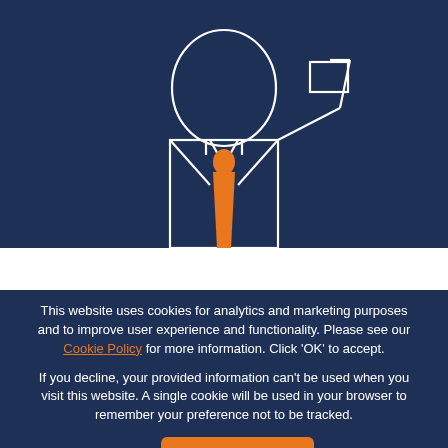[Figure (illustration): Partial illustration of a business person (avatar) with white outline on dark navy background, wearing an orange tie. Only the upper body and face silhouette visible.]
This website uses cookies for analytics and marketing purposes and to improve user experience and functionality. Please see our Cookie Policy for more information. Click ‘OK’ to accept.

If you decline, your provided information can’t be used when you visit this website. A single cookie will be used in your browser to remember your preference not to be tracked.
Cookies settings
Accept All